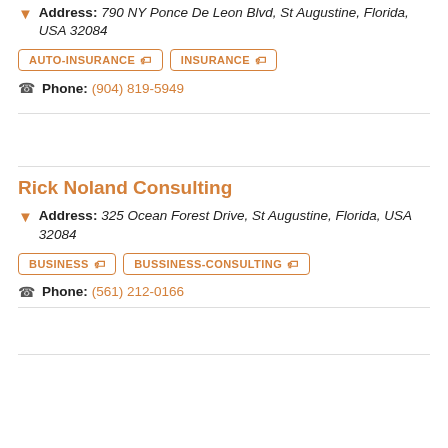Address: 790 NY Ponce De Leon Blvd, St Augustine, Florida, USA 32084
AUTO-INSURANCE
INSURANCE
Phone: (904) 819-5949
Rick Noland Consulting
Address: 325 Ocean Forest Drive, St Augustine, Florida, USA 32084
BUSINESS
BUSSINESS-CONSULTING
Phone: (561) 212-0166